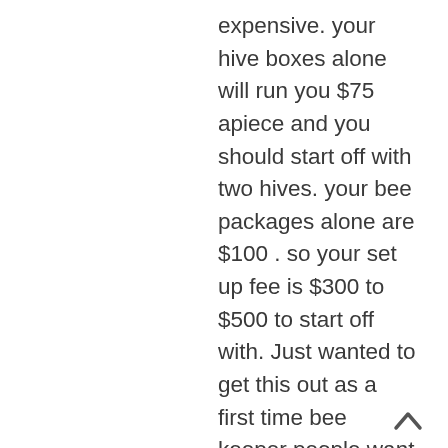expensive. your hive boxes alone will run you $75 apiece and you should start off with two hives. your bee packages alone are $100 . so your set up fee is $300 to $500 to start off with. Just wanted to get this out as a first time bee keeper people want to know the cost. You should also join your local bee keeping club if there is one around. Bees are work . Also honey bees are not aggesive out side there hive. there is one thought on there mind and that is to do there job. By the way most all the bees in the hive are girls there are drones which fertalize the Queen and funny thing is that when winter comes they kill all the drones keep drones eggs to hatch out when warm weather comes.